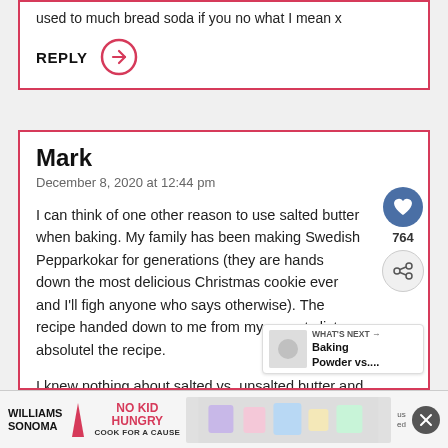used to much bread soda if you no what I mean x
REPLY
Mark
December 8, 2020 at 12:44 pm
I can think of one other reason to use salted butter when baking. My family has been making Swedish Pepparkokar for generations (they are hands down the most delicious Christmas cookie ever and I'll fight anyone who says otherwise). The recipe handed down to me from my parents lists absolutely the recipe.
I knew nothing about salted vs. unsalted butter and
[Figure (screenshot): Ad banner for Williams Sonoma No Kid Hungry Cook for a Cause campaign]
WHAT'S NEXT → Baking Powder vs....